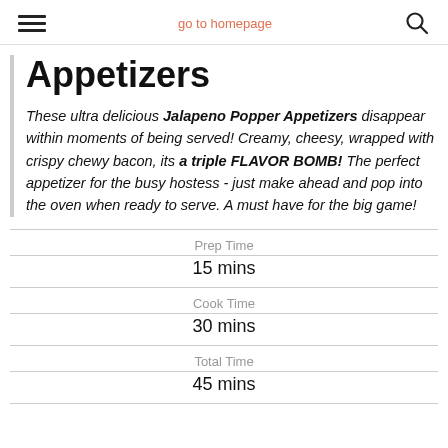go to homepage
Appetizers
These ultra delicious Jalapeno Popper Appetizers disappear within moments of being served! Creamy, cheesy, wrapped with crispy chewy bacon, its a triple FLAVOR BOMB! The perfect appetizer for the busy hostess - just make ahead and pop into the oven when ready to serve. A must have for the big game!
| Label | Value |
| --- | --- |
| Prep Time | 15 mins |
| Cook Time | 30 mins |
| Total Time | 45 mins |